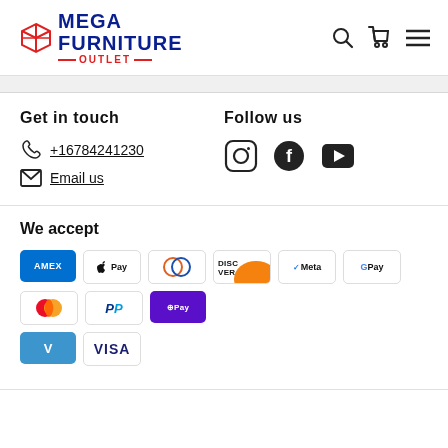[Figure (logo): Mega Furniture Outlet logo with box icon, search, cart, and menu icons]
Get in touch
Follow us
+16784241230
Email us
[Figure (infographic): Social media icons: Instagram, Facebook, YouTube]
We accept
[Figure (infographic): Payment method badges: AMEX, Apple Pay, Diners, Discover, Meta Pay, Google Pay, Mastercard, PayPal, Shop Pay, Venmo, Visa]